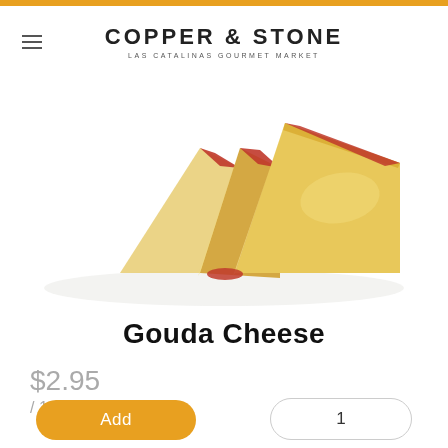COPPER & STONE / LAS CATALINAS GOURMET MARKET
[Figure (photo): Product photo of Gouda cheese wedges with red wax rind, sliced to show interior on white background]
Gouda Cheese
$2.95 / 100g